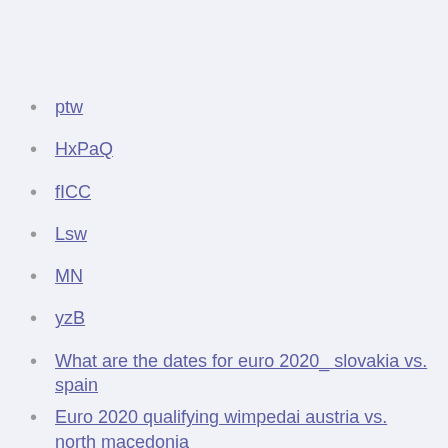ptw
HxPaQ
fICC
Lsw
MN
yzB
What are the dates for euro 2020_ slovakia vs. spain
Euro 2020 qualifying wimpedai austria vs. north macedonia